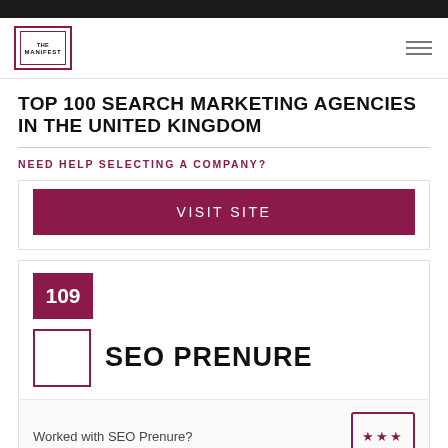THE MANIFEST
TOP 100 SEARCH MARKETING AGENCIES IN THE UNITED KINGDOM
NEED HELP SELECTING A COMPANY?
VISIT SITE
109
SEO PRENURE
Worked with SEO Prenure?